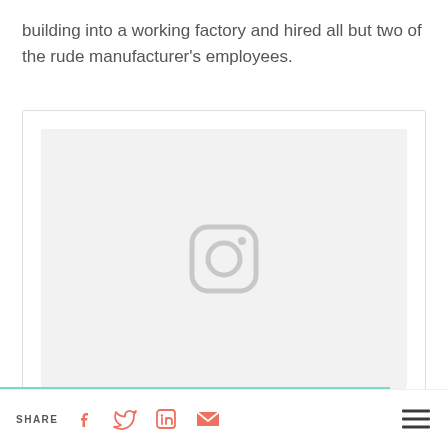building into a working factory and hired all but two of the rude manufacturer's employees.
[Figure (photo): Instagram placeholder image with Instagram camera icon centered on a light gray background inside a bordered container]
SHARE [Facebook] [Twitter] [LinkedIn] [Email] [Hamburger menu]